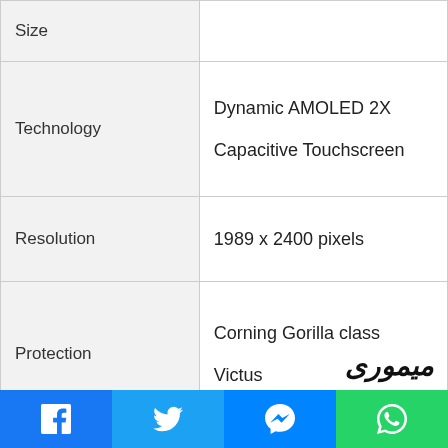| Feature | Value |
| --- | --- |
| Size |  |
| Technology | Dynamic AMOLED 2X
Capacitive Touchscreen |
| Resolution | 1989 x 2400 pixels |
| Protection | Corning Gorilla class
Victus |
میموری
Facebook | Twitter | Messenger | WhatsApp